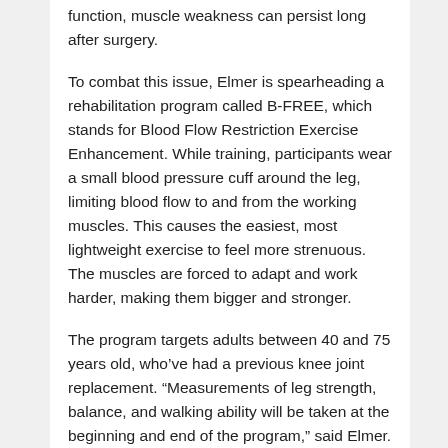function, muscle weakness can persist long after surgery.
To combat this issue, Elmer is spearheading a rehabilitation program called B-FREE, which stands for Blood Flow Restriction Exercise Enhancement. While training, participants wear a small blood pressure cuff around the leg, limiting blood flow to and from the working muscles. This causes the easiest, most lightweight exercise to feel more strenuous. The muscles are forced to adapt and work harder, making them bigger and stronger.
The program targets adults between 40 and 75 years old, who've had a previous knee joint replacement. “Measurements of leg strength, balance, and walking ability will be taken at the beginning and end of the program,” said Elmer. After the initial consultation, most exercises will be performed at home with the goal of 150 minutes of physical activity per week, as recommended